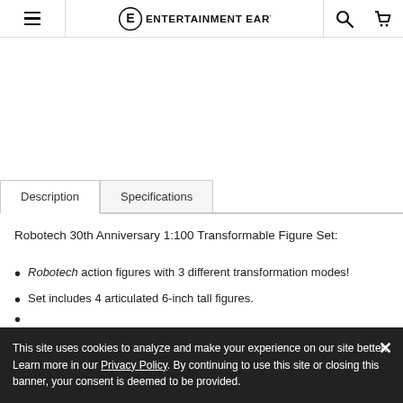Entertainment Earth navigation bar with hamburger menu, logo, search and cart icons
Description | Specifications (tabs)
Robotech 30th Anniversary 1:100 Transformable Figure Set:
Robotech action figures with 3 different transformation modes!
Set includes 4 articulated 6-inch tall figures.
This site uses cookies to analyze and make your experience on our site better. Learn more in our Privacy Policy. By continuing to use this site or closing this banner, your consent is deemed to be provided.